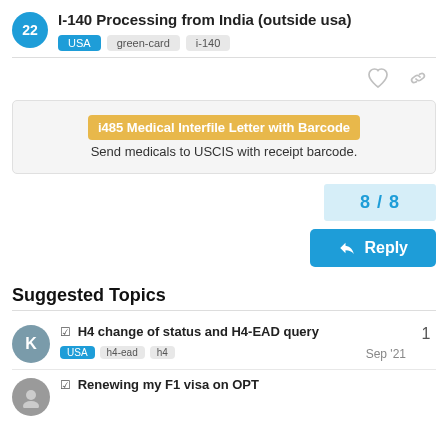I-140 Processing from India (outside usa)
USA  green-card  i-140
[Figure (other): Heart icon and link icon action buttons]
i485 Medical Interfile Letter with Barcode  Send medicals to USCIS with receipt barcode.
8 / 8
Reply
Suggested Topics
H4 change of status and H4-EAD query
USA  h4-ead  h4  Sep '21
1
Renewing my F1 visa on OPT